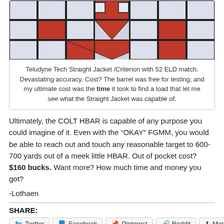[Figure (illustration): A stained-glass style mosaic/quilt pattern with red heart shape on a grid of blue-gray and white squares, partially cropped showing bottom portion.]
Teludyne Tech Straight Jacket /Criterion with 52 ELD match. Devastating accuracy. Cost? The barrel was free for testing, and my ultimate cost was the time it took to find a load that let me see what the Straight Jacket was capable of.
Ultimately, the COLT HBAR is capable of any purpose you could imagine of it. Even with the “OKAY” FGMM, you would be able to reach out and touch any reasonable target to 600-700 yards out of a meek little HBAR. Out of pocket cost? $160 bucks. Want more? How much time and money you got?
-Lothaen
SHARE:
Twitter  Facebook  Pinterest  Reddit  More